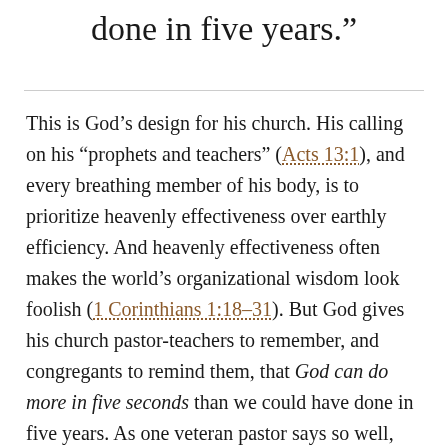done in five years.”
This is God’s design for his church. His calling on his “prophets and teachers” (Acts 13:1), and every breathing member of his body, is to prioritize heavenly effectiveness over earthly efficiency. And heavenly effectiveness often makes the world’s organizational wisdom look foolish (1 Corinthians 1:18–31). But God gives his church pastor-teachers to remember, and congregants to remind them, that God can do more in five seconds than we could have done in five years. As one veteran pastor says so well,